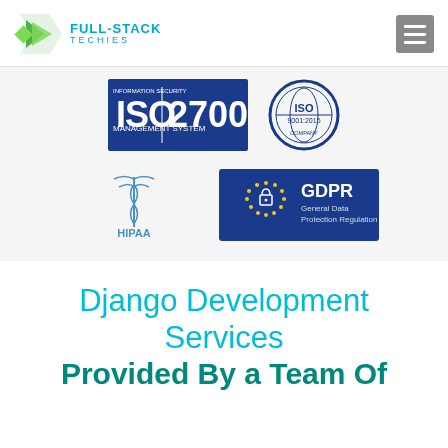[Figure (logo): Full-Stack Techies logo with green arrow icon and teal text]
[Figure (logo): ISO 27001 Information Security Management System certification badge (blue rectangle)]
[Figure (logo): ISO 9001:2015 Certified Company circular badge]
[Figure (logo): HIPAA Compliant badge with caduceus symbol in blue]
[Figure (logo): GDPR General Data Protection Regulation badge (blue rectangle with stars and lock)]
Django Development Services Provided By a Team Of